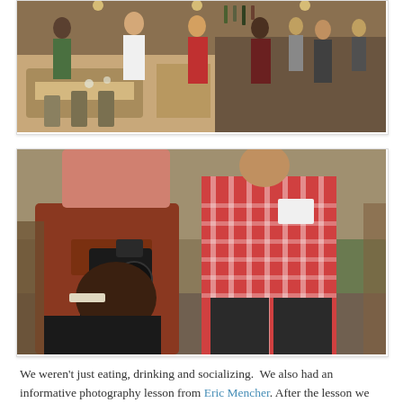[Figure (photo): Indoor restaurant scene with people socializing, standing near booths and a bar area.]
[Figure (photo): Two people in a restaurant: a woman bending down holding a camera photographing something, and a man in a plaid shirt standing beside her.]
We weren't just eating, drinking and socializing.  We also had an informative photography lesson from Eric Mencher.  After the lesson we practiced on some edible props, generously provided by R2L...